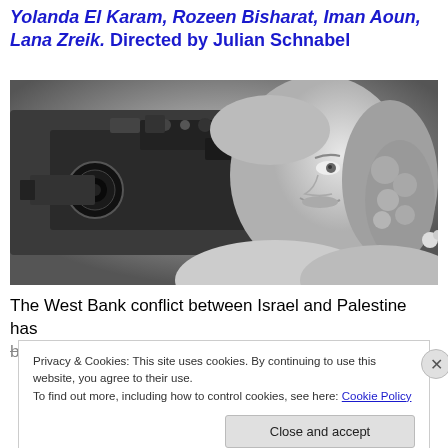Yolanda El Karam, Rozeen Bisharat, Iman Aoun, Lana Zreik. Directed by Julian Schnabel
[Figure (photo): Black and white vintage photograph of a smiling woman with curly hair holding a large film camera up to her eye.]
The West Bank conflict between Israel and Palestine has been going on virtually since the founding of the Israeli
Privacy & Cookies: This site uses cookies. By continuing to use this website, you agree to their use. To find out more, including how to control cookies, see here: Cookie Policy